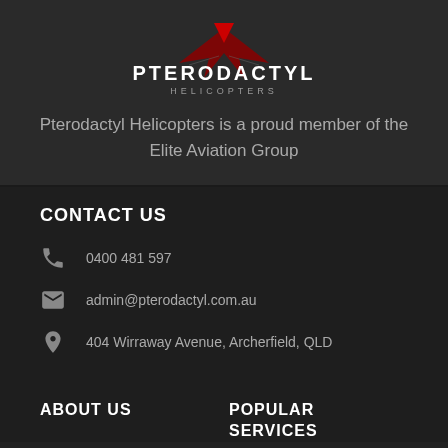[Figure (logo): Pterodactyl Helicopters logo with red pterodactyl wing graphic above the text PTERODACTYL in bold white and HELICOPTERS in grey below]
Pterodactyl Helicopters is a proud member of the Elite Aviation Group
CONTACT US
0400 481 597
admin@pterodactyl.com.au
404 Wirraway Avenue, Archerfield, QLD
ABOUT US
POPULAR SERVICES